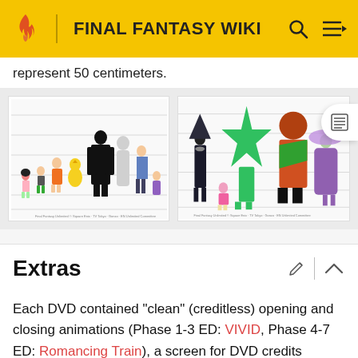FINAL FANTASY WIKI
represent 50 centimeters.
[Figure (illustration): Character height comparison chart showing multiple anime-style characters from Final Fantasy lined up against horizontal reference lines, including small characters, a chocobo, and taller dark-caped figures.]
[Figure (illustration): Character height comparison chart showing a second group of Final Fantasy characters including a witch-like figure, a large green crystal/star entity, a large armored character, and other characters in colorful costumes.]
Extras
Each DVD contained "clean" (creditless) opening and closing animations (Phase 1-3 ED: VIVID, Phase 4-7 ED: Romancing Train), a screen for DVD credits (coordinator, creative directors, menus, and production), and "ADV